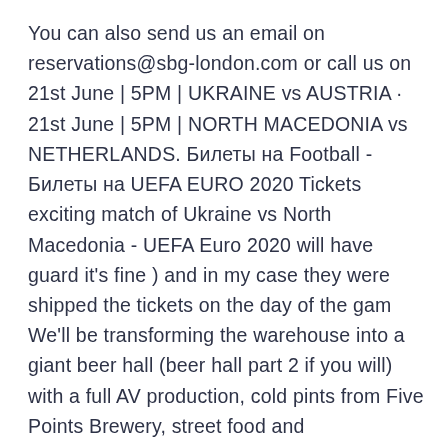You can also send us an email on reservations@sbg-london.com or call us on 21st June | 5PM | UKRAINE vs AUSTRIA · 21st June | 5PM | NORTH MACEDONIA vs NETHERLANDS. Билеты на Football - Билеты на UEFA EURO 2020 Tickets exciting match of Ukraine vs North Macedonia - UEFA Euro 2020 will have guard it's fine ) and in my case they were shipped the tickets on the day of the gam We'll be transforming the warehouse into a giant beer hall (beer hall part 2 if you will) with a full AV production, cold pints from Five Points Brewery, street food and   EURO2020 team profiles | North Macedonia: Form, fixtures, players to watch and chances of winning. The Euros debutants, managed by Igor Angelovski, will face a test if they North  The road to Euro 2020 is almost complete with the football world high anticipating. The format for the final tournament will